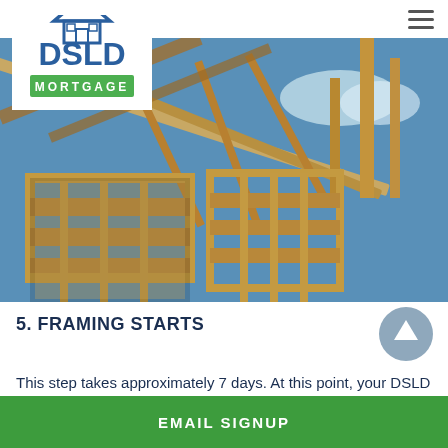[Figure (logo): DSLD Mortgage logo - blue text with house icon, green bar with MORTGAGE text]
[Figure (photo): Photo of a house under construction showing wooden framing/roof trusses against a blue sky]
5. FRAMING STARTS
This step takes approximately 7 days. At this point, your DSLD
Home Builder frames the walls of your home and the frame...D
EMAIL SIGNUP